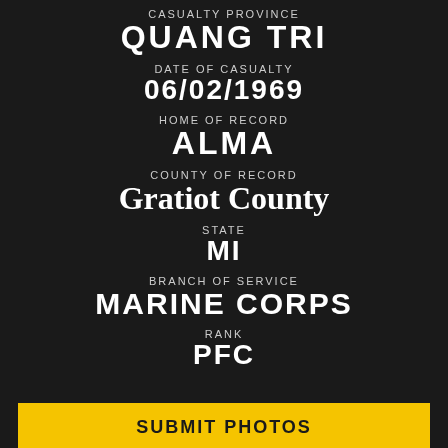CASUALTY PROVINCE
QUANG TRI
DATE OF CASUALTY
06/02/1969
HOME OF RECORD
ALMA
COUNTY OF RECORD
Gratiot County
STATE
MI
BRANCH OF SERVICE
MARINE CORPS
RANK
PFC
SUBMIT PHOTOS